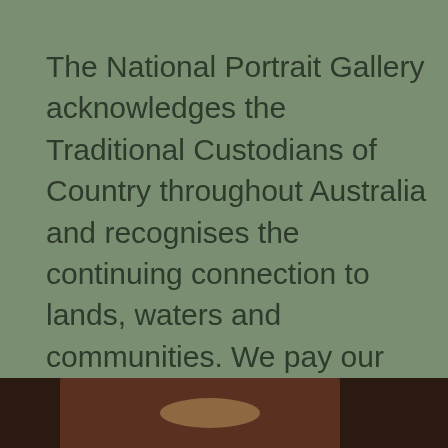The National Portrait Gallery acknowledges the Traditional Custodians of Country throughout Australia and recognises the continuing connection to lands, waters and communities. We pay our respect to Aboriginal and Torres Strait Islander cultures and to Elders both past and present.
Aboriginal and Torres Strait Islander viewers are warned that this website contains images of
[Figure (photo): Partial photo strip at bottom of page, showing a dark image with warm tones, partially cropped]